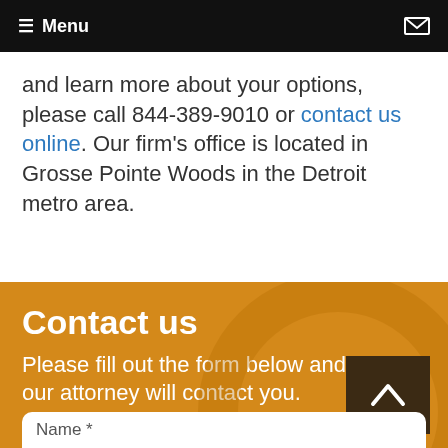☰ Menu
and learn more about your options, please call 844-389-9010 or contact us online. Our firm's office is located in Grosse Pointe Woods in the Detroit metro area.
Contact us
Please fill out the form below and our attorney will contact you.
Name *